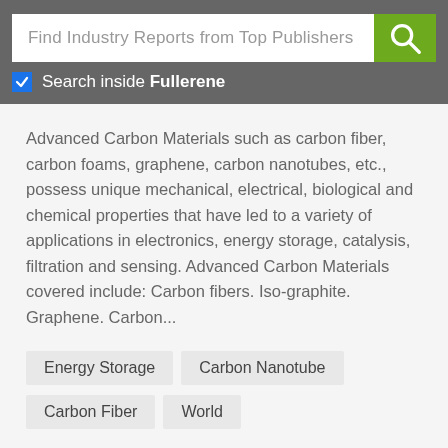Find Industry Reports from Top Publishers
Search inside Fullerene
Advanced Carbon Materials such as carbon fiber, carbon foams, graphene, carbon nanotubes, etc., possess unique mechanical, electrical, biological and chemical properties that have led to a variety of applications in electronics, energy storage, catalysis, filtration and sensing. Advanced Carbon Materials covered include: Carbon fibers. Iso-graphite. Graphene. Carbon...
Energy Storage
Carbon Nanotube
Carbon Fiber
World
The Global Market